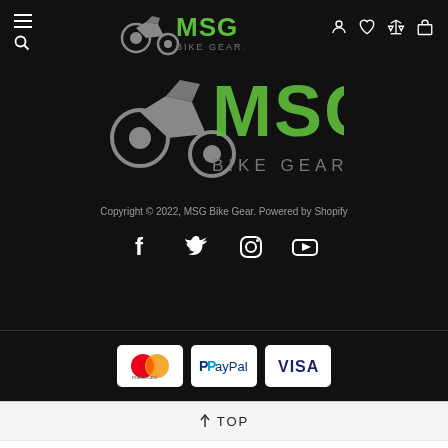[Figure (logo): MSG Bike Gear logo - small top nav version with grunge green MSG text and motorcycle graphic on black background]
[Figure (logo): MSG Bike Gear large center logo with grunge green MSG text, motorcycle graphic, and BIKE GEAR.co.uk text on black background]
Copyright © 2022, MSG Bike Gear. Powered by Shopify
[Figure (infographic): Social media icons row: Facebook, Twitter, Instagram, YouTube - white icons on black background]
[Figure (infographic): Payment method cards: Mastercard, PayPal, Visa on white rounded rectangle badges]
↑ TOP
[Figure (photo): Motorcycle helmet - black with pink stripe, full-face helmet product image]
£379.99
M
ADD TO CART